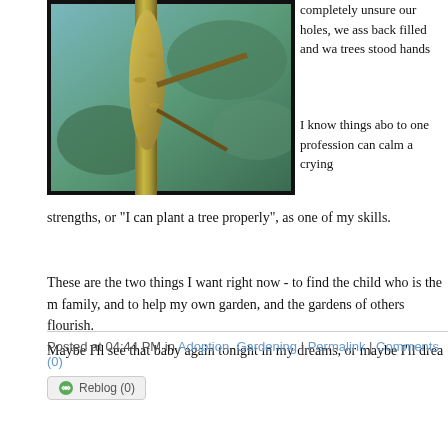[Figure (photo): Close-up photo of a plant stem or catkin, yellow-green in color, against a blurred blue-green background]
completely unsure our holes, we ass back filled and wa trees stood hands
I know things abo to one profession can calm a crying strengths, or "I can plant a tree properly", as one of my skills.
These are the two things I want right now - to find the child who is the m family, and to help my own garden, and the gardens of others flourish.
Maybe I'll see that baby again tonight in my dreams, or maybe I'll drea
Posted at 04:44 PM in Adoption, Gardening | Permalink | Comments (0)